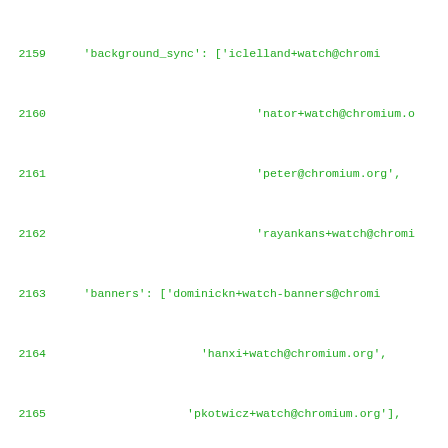2159    'background_sync': ['iclelland+watch@chromi
2160                             'nator+watch@chromium.o
2161                             'peter@chromium.org',
2162                             'rayankans+watch@chromi
2163    'banners': ['dominickn+watch-banners@chromi
2164                     'hanxi+watch@chromium.org',
2165                   'pkotwicz+watch@chromium.org'],
2166    'base': ['vmpstr+watch@chromium.org'],
2167    'base_allocator': ['wfh+watch@chromium.org'
2168                                'lizeb+watch@chromium.or
2169    'base_memory': ['gavinp+memory@chromium.org
2170    'base_scheduler': ['scheduler-bugs+base@chr
2171    'base_thread_pool': ['fdoray+watch@chromium
2172                                'gab+watch@chromium.or
2173                                'robliao+watch@chromiu
2174    'base_win': ['grt+watch@chromium.org',
2175                     'robliao+watch@chromium.org',
2176                       'wfh+watch@chromium.org'],
2177    'battery_status': ['timvolodine@chromium.or
2178    'bfcache': ['bfcache-bugs@chromium.org'],
2179    'binary_size': ['agrieve+watch@chromium.org